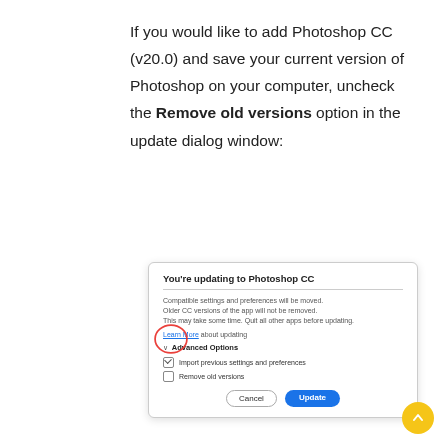If you would like to add Photoshop CC (v20.0) and save your current version of Photoshop on your computer, uncheck the Remove old versions option in the update dialog window:
[Figure (screenshot): Adobe CC update dialog showing 'You're updating to Photoshop CC' with Advanced Options expanded, showing checkboxes for 'Import previous settings and preferences' (checked) and 'Remove old versions' (unchecked), with Cancel and Update buttons. A red circle highlights the two checkboxes.]